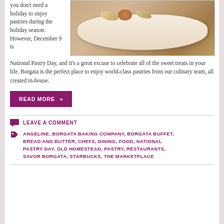you don't need a holiday to enjoy pastries during the holiday season. However, December 9 is National Pastry Day, and it's a great excuse to celebrate all of the sweet treats in your life. Borgata is the perfect place to enjoy world-class pastries from our culinary team, all created in-house.
[Figure (photo): Photo of pastries on a white rectangular plate on a wooden surface]
READ MORE »
LEAVE A COMMENT
ANGELINE, BORGATA BAKING COMPANY, BORGATA BUFFET, BREAD AND BUTTER, CHEFS, DINING, FOOD, NATIONAL PASTRY DAY, OLD HOMESTEAD, PASTRY, RESTAURANTS, SAVOR BORGATA, STARBUCKS, THE MARKETPLACE